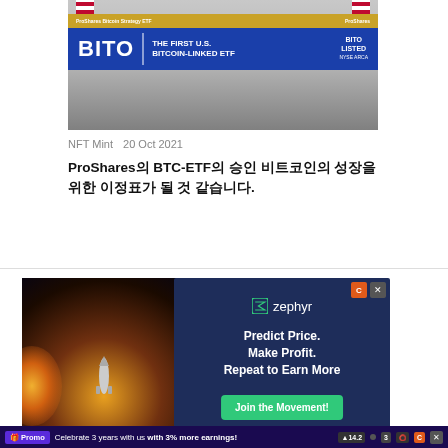[Figure (photo): BITO ProShares Bitcoin Strategy ETF banner on a building facade with American flags]
NFT Mint   20 Oct 2021
ProShares의 BTC-ETF의 승인 비트코인의 성장을 위한 이정표가 될 것 같습니다.
[Figure (photo): Space shuttle rocket launch with bright exhaust flames against dark night sky]
[Figure (advertisement): Zephyr ad: Predict Price. Make Profit. Repeat to Earn More. Join the Movement!]
Promo   Celebrate 3 years with us with 3% more earnings!